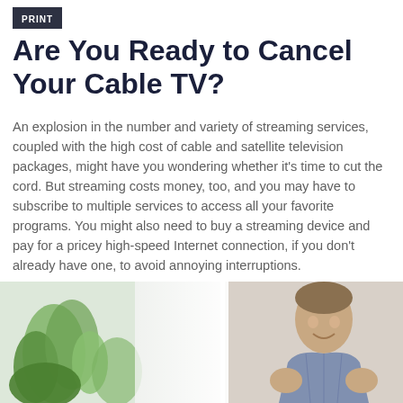Print
Are You Ready to Cancel Your Cable TV?
An explosion in the number and variety of streaming services, coupled with the high cost of cable and satellite television packages, might have you wondering whether it’s time to cut the cord. But streaming costs money, too, and you may have to subscribe to multiple services to access all your favorite programs. You might also need to buy a streaming device and pay for a pricey high-speed Internet connection, if you don’t already have one, to avoid annoying interruptions.
[Figure (photo): Photo of a person with raised fists, with a plant visible on the left side, split by a white vertical divider]